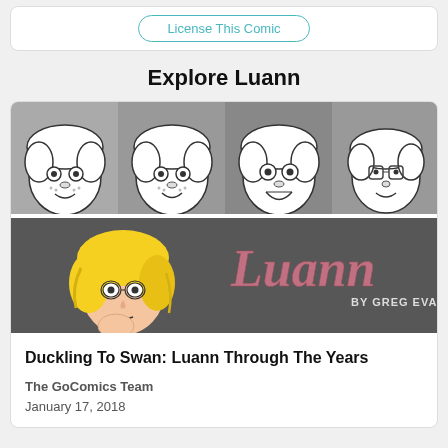License This Comic
Explore Luann
[Figure (illustration): Luann comic strip banner showing four cartoon faces of the character Luann through the years (top half, grayscale) and a colored illustration of Luann with the 'Luann by Greg Evans' logo (bottom half, dark background)]
Duckling To Swan: Luann Through The Years
The GoComics Team
January 17, 2018